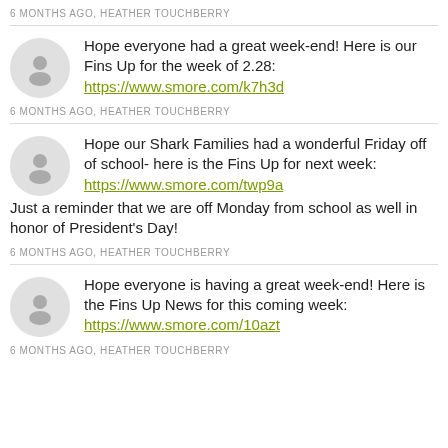6 MONTHS AGO, HEATHER TOUCHBERRY
Hope everyone had a great week-end! Here is our Fins Up for the week of 2.28: https://www.smore.com/k7h3d
6 MONTHS AGO, HEATHER TOUCHBERRY
Hope our Shark Families had a wonderful Friday off of school- here is the Fins Up for next week: https://www.smore.com/twp9a Just a reminder that we are off Monday from school as well in honor of President's Day!
6 MONTHS AGO, HEATHER TOUCHBERRY
Hope everyone is having a great week-end! Here is the Fins Up News for this coming week: https://www.smore.com/10azt
6 MONTHS AGO, HEATHER TOUCHBERRY